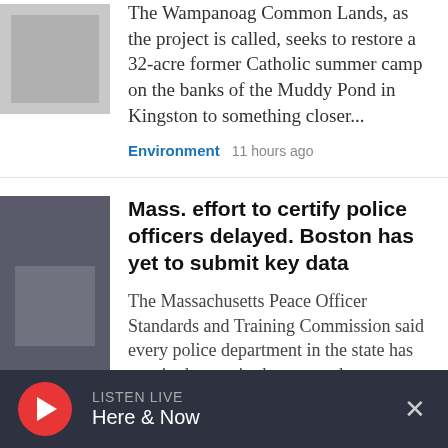The Wampanoag Common Lands, as the project is called, seeks to restore a 32-acre former Catholic summer camp on the banks of the Muddy Pond in Kingston to something closer...
Environment  11 hours ago
Mass. effort to certify police officers delayed. Boston has yet to submit key data
The Massachusetts Peace Officer Standards and Training Commission said every police department in the state has sent in the required paperwork — except for Boston.
LISTEN LIVE Here & Now